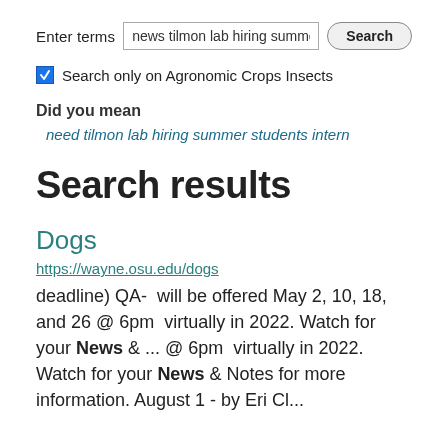Enter terms  [news tilmon lab hiring summe]  [Search]
☑ Search only on Agronomic Crops Insects
Did you mean
need tilmon lab hiring summer students intern
Search results
Dogs
https://wayne.osu.edu/dogs
deadline) QA-  will be offered May 2, 10, 18, and 26 @ 6pm  virtually in 2022. Watch for your News & ... @ 6pm  virtually in 2022. Watch for your News & Notes for more information. August 1 - by Erin Cl...